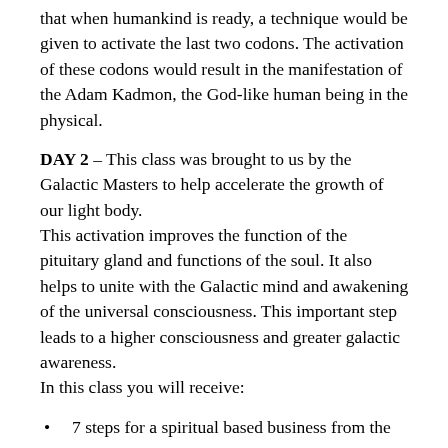that when humankind is ready, a technique would be given to activate the last two codons.  The activation of these codons would result in the manifestation of the Adam Kadmon, the God-like human being in the physical.
DAY 2 – This class was brought to us by the Galactic Masters to help accelerate the growth of our light body.
This activation improves the function of the pituitary gland and functions of the soul.  It also helps to unite with the Galactic mind and awakening of the universal consciousness.  This important step leads to a higher consciousness and greater galactic awareness.
In this class you will receive:
7 steps for a spiritual based business from the